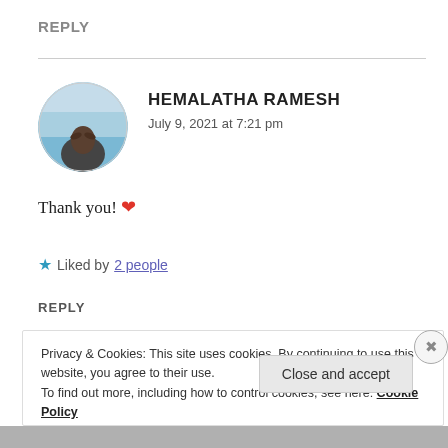REPLY
HEMALATHA RAMESH
July 9, 2021 at 7:21 pm
[Figure (photo): Circular avatar photo of Hemalatha Ramesh, showing a person against a blue sky background]
Thank you! ❤
★ Liked by 2 people
REPLY
Privacy & Cookies: This site uses cookies. By continuing to use this website, you agree to their use.
To find out more, including how to control cookies, see here: Cookie Policy
Close and accept